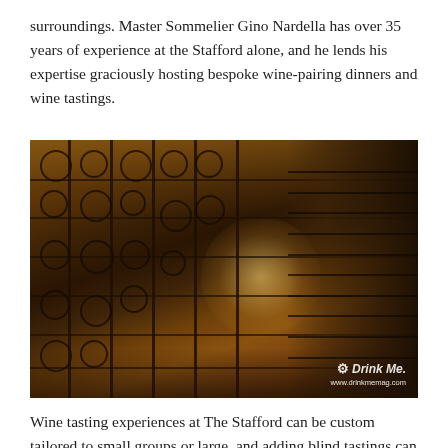surroundings. Master Sommelier Gino Nardella has over 35 years of experience at the Stafford alone, and he lends his expertise graciously hosting bespoke wine-pairing dinners and wine tastings.
[Figure (photo): Interior photograph of a wine cellar corridor with ornate wrought iron gates on the left side featuring decorative scroll patterns, and walls lined with wine bottle racks receding into the distance. The space is warmly lit with amber/golden tones from stone walls and ceiling. A DrinkMe magazine watermark appears in the bottom right corner.]
Wine tasting experiences at The Stafford can be custom tailored to small groups or large, and adding blind tastings can be a challenging and rewarding way to foster social interactions and